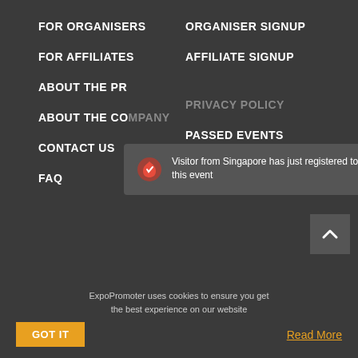FOR ORGANISERS
ORGANISER SIGNUP
FOR AFFILIATES
AFFILIATE SIGNUP
ABOUT THE PR...
ABOUT THE COMPANY
PRIVACY POLICY
CONTACT US
PASSED EVENTS
FAQ
[Figure (screenshot): Notification toast: 'Visitor from Singapore has just registered to this event' with close button]
For exhibitors:
exhibitor@expopromoter.com
For affiliates:
affiliation@expopromoter.com
For job applications:
hr@expopromoter.com
ExpoPromoter uses cookies to ensure you get the best experience on our website
GOT IT
Read More